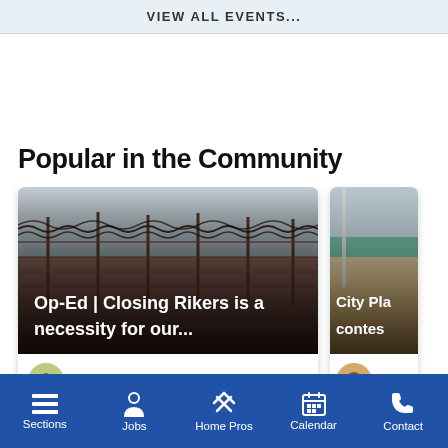VIEW ALL EVENTS...
Popular in the Community
[Figure (photo): Prison fence with barbed wire in foggy/misty conditions, with overlay text: Op-Ed | Closing Rikers is a necessity for our...]
[Figure (photo): Partial view of a building with green roof and beige wall, with partial overlay text: City Pla... contes...]
Darren · 25 Aug
Ca...
Sections  Jobs  Home Pros  Calendar  Contact